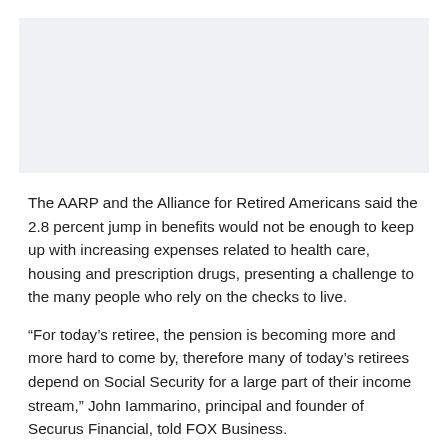[Figure (other): Light gray rectangular image placeholder at top of page]
The AARP and the Alliance for Retired Americans said the 2.8 percent jump in benefits would not be enough to keep up with increasing expenses related to health care, housing and prescription drugs, presenting a challenge to the many people who rely on the checks to live.
“For today’s retiree, the pension is becoming more and more hard to come by, therefore many of today’s retirees depend on Social Security for a large part of their income stream,” John Iammarino, principal and founder of Securus Financial, told FOX Business.
While individuals of all ages are faced with savings challenges, here are some ways older Americans can